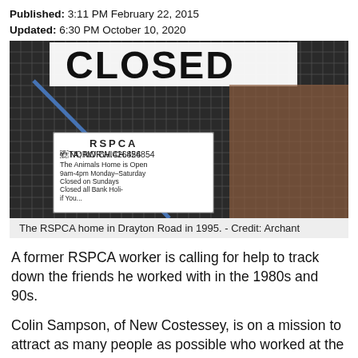Published: 3:11 PM February 22, 2015
Updated: 6:30 PM October 10, 2020
[Figure (photo): Photo of the RSPCA home in Drayton Road in 1995, showing a wire fence gate with a 'CLOSED' sign in the background and an RSPCA Norwich sign with hours of operation.]
The RSPCA home in Drayton Road in 1995. - Credit: Archant
A former RSPCA worker is calling for help to track down the friends he worked with in the 1980s and 90s.
Colin Sampson, of New Costessey, is on a mission to attract as many people as possible who worked at the